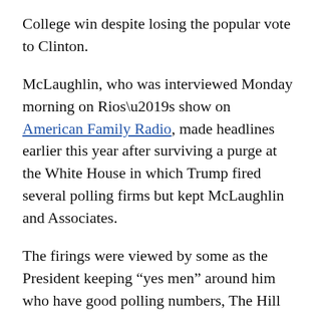College win despite losing the popular vote to Clinton.
McLaughlin, who was interviewed Monday morning on Rios’s show on American Family Radio, made headlines earlier this year after surviving a purge at the White House in which Trump fired several polling firms but kept McLaughlin and Associates.
The firings were viewed by some as the President keeping “yes men” around him who have good polling numbers, The Hill reported in an Oct. 12 story, but that view was disputed by many others who said